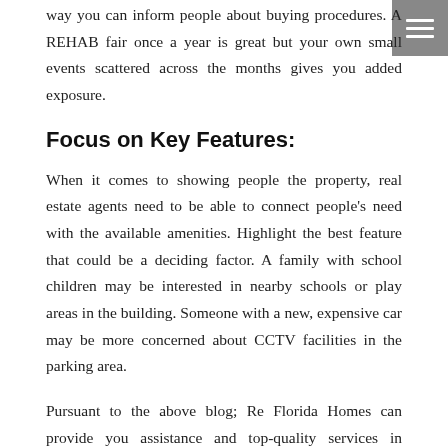way you can inform people about buying procedures. A REHAB fair once a year is great but your own small events scattered across the months gives you added exposure.
Focus on Key Features:
When it comes to showing people the property, real estate agents need to be able to connect people's need with the available amenities. Highlight the best feature that could be a deciding factor. A family with school children may be interested in nearby schools or play areas in the building. Someone with a new, expensive car may be more concerned about CCTV facilities in the parking area.
Pursuant to the above blog; Re Florida Homes can provide you assistance and top-quality services in becoming a top real estate agent. You can reach us on the following channels as per your convenience; www.ReFloridaHomesAgents.com